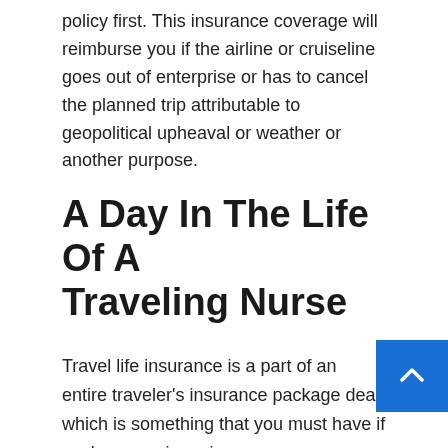policy first. This insurance coverage will reimburse you if the airline or cruiseline goes out of enterprise or has to cancel the planned trip attributable to geopolitical upheaval or weather or another purpose.
A Day In The Life Of A Traveling Nurse
Travel life insurance is a part of an entire traveler's insurance package deal, which is something that you must have if you're occurring a journey overseas. The rules of the highway are usually the same as US mainland legal guidelines as the island of Guam is an unincorporated Territory of the USA. Should you're travelling abroad pack an extension cord so you can energy a number of